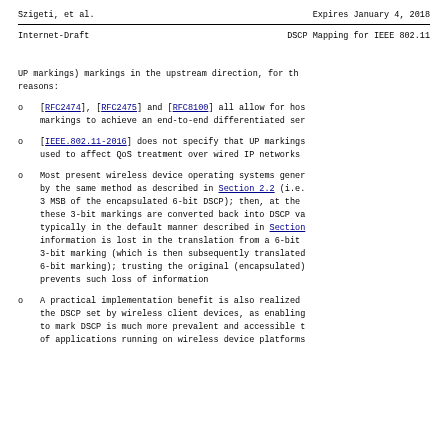Szigeti, et al.    Expires January 4, 2018
Internet-Draft      DSCP Mapping for IEEE 802.11
UP markings) markings in the upstream direction, for th reasons:
[RFC2474], [RFC2475] and [RFC8100] all allow for hos markings to achieve an end-to-end differentiated ser
[IEEE.802.11-2016] does not specify that UP markings used to affect QoS treatment over wired IP networks
Most present wireless device operating systems gener by the same method as described in Section 2.2 (i.e. 3 MSB of the encapsulated 6-bit DSCP); then, at the these 3-bit markings are converted back into DSCP va typically in the default manner described in Section information is lost in the translation from a 6-bit 3-bit marking (which is then subsequently translated 6-bit marking); trusting the original (encapsulated) prevents such loss of information
A practical implementation benefit is also realized the DSCP set by wireless client devices, as enabling to mark DSCP is much more prevalent and accessible t of applications running on wireless device platforms